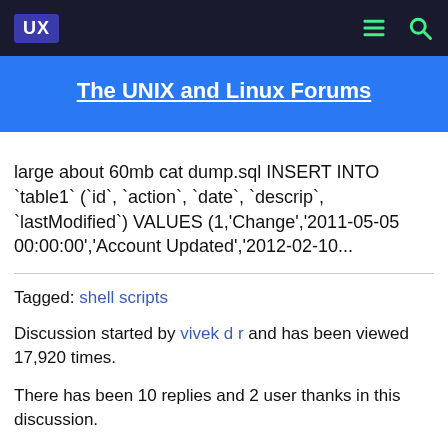UX
The UNIX and Linux Forums
large about 60mb cat dump.sql INSERT INTO `table1` (`id`, `action`, `date`, `descrip`, `lastModified`) VALUES (1,'Change','2011-05-05 00:00:00','Account Updated','2012-02-10...
Tagged: shell scripts
Discussion started by vivek d r and has been viewed 17,920 times.
There has been 10 replies and 2 user thanks in this discussion.
The last reply was by vivek d r.